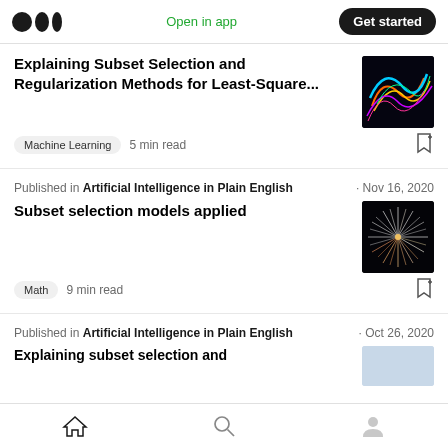Medium logo | Open in app | Get started
Explaining Subset Selection and Regularization Methods for Least-Square...
Machine Learning · 5 min read
Published in Artificial Intelligence in Plain English · Nov 16, 2020
Subset selection models applied
Math · 9 min read
Published in Artificial Intelligence in Plain English · Oct 26, 2020
Explaining subset selection and
Home | Search | Profile